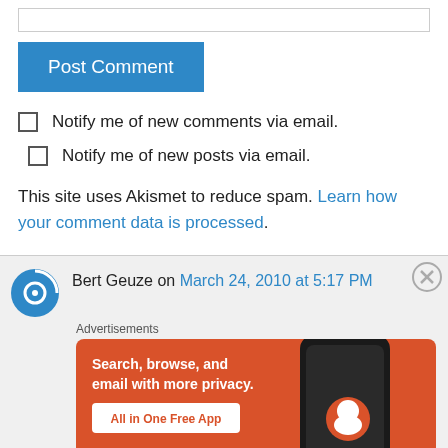[Figure (other): Text input field at top]
Post Comment
Notify me of new comments via email.
Notify me of new posts via email.
This site uses Akismet to reduce spam. Learn how your comment data is processed.
Bert Geuze on March 24, 2010 at 5:17 PM
Advertisements
[Figure (other): DuckDuckGo advertisement: Search, browse, and email with more privacy. All in One Free App.]